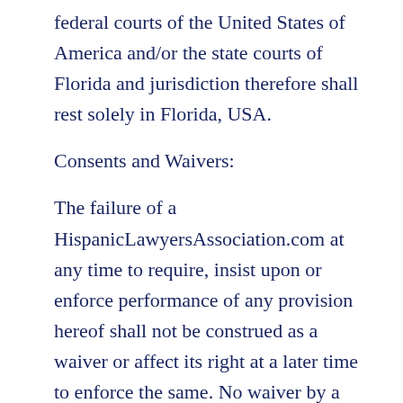federal courts of the United States of America and/or the state courts of Florida and jurisdiction therefore shall rest solely in Florida, USA.
Consents and Waivers:
The failure of a HispanicLawyersAssociation.com at any time to require, insist upon or enforce performance of any provision hereof shall not be construed as a waiver or affect its right at a later time to enforce the same. No waiver by a Party of any condition or any breach of any term, covenant, representation or warranty contained in this Agreement shall be effective unless in writing, and no waiver of any one or more instances shall be deemed to be a further or continuing waiver of any such condition or breach in other instances or a waiver of any other condition or breach of any other term,